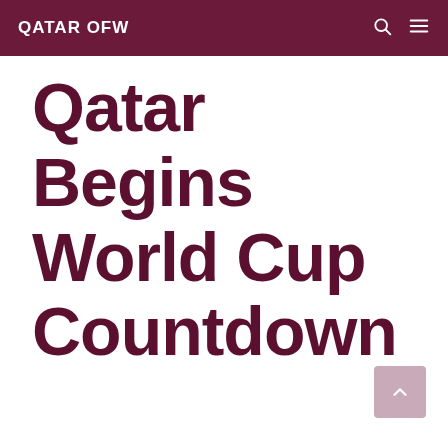QATAR OFW
Qatar Begins World Cup Countdown